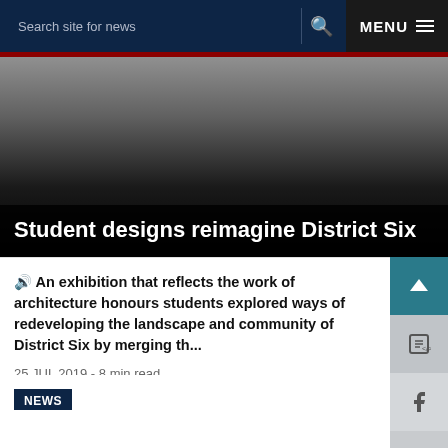Search site for news  🔍  MENU ≡
[Figure (photo): Hero image with dark gradient overlay showing architecture/urban design context for District Six article]
Student designs reimagine District Six
🔊 An exhibition that reflects the work of architecture honours students explored ways of redeveloping the landscape and community of District Six by merging th...
25 JUL 2019 - 8 min read
NEWS